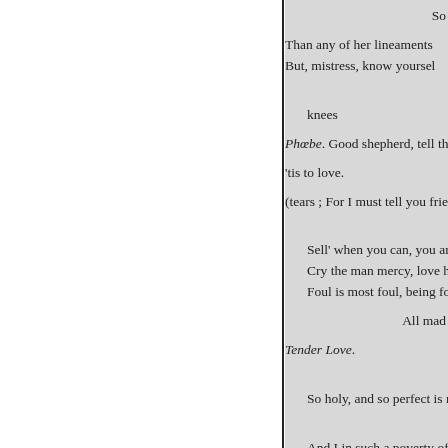So
Than any of her lineaments
But, mistress, know yoursel
knees
Phœbe. Good shepherd, tell th
'tis to love.
(tears ; For I must tell you frie
Sell' when you can, you are
Cry the man mercy, love hi
Foul is most foul, being fou
All mad
Tender Love.
So holy, and so perfect is m
And I in such a poverty of